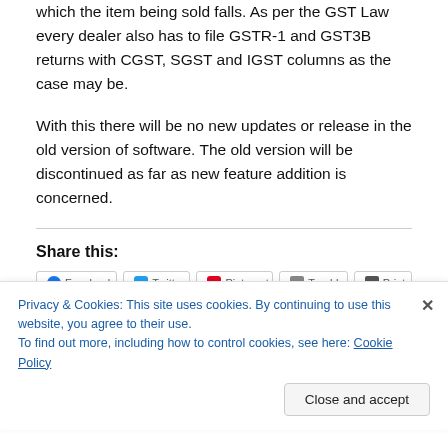which the item being sold falls. As per the GST Law every dealer also has to file GSTR-1 and GST3B returns with CGST, SGST and IGST columns as the case may be.
With this there will be no new updates or release in the old version of software. The old version will be discontinued as far as new feature addition is concerned.
Share this:
Privacy & Cookies: This site uses cookies. By continuing to use this website, you agree to their use.
To find out more, including how to control cookies, see here: Cookie Policy
Close and accept